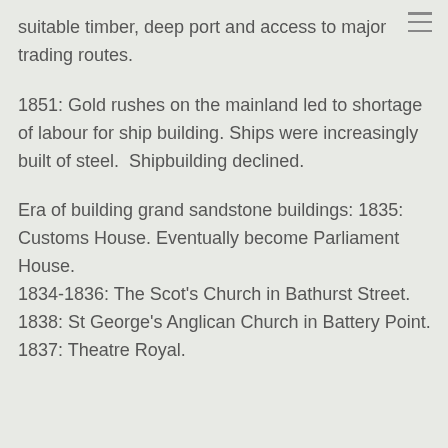suitable timber, deep port and access to major trading routes.
1851: Gold rushes on the mainland led to shortage of labour for ship building. Ships were increasingly built of steel. Shipbuilding declined.
Era of building grand sandstone buildings: 1835: Customs House. Eventually become Parliament House. 1834-1836: The Scot's Church in Bathurst Street. 1838: St George's Anglican Church in Battery Point. 1837: Theatre Royal.